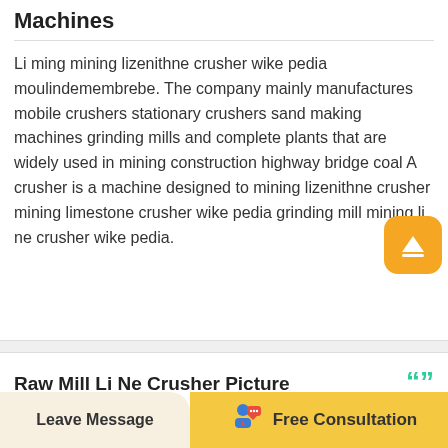Machines
Li ming mining lizenithne crusher wike pedia moulindemembrebe. The company mainly manufactures mobile crushers stationary crushers sand making machines grinding mills and complete plants that are widely used in mining construction highway bridge coal A crusher is a machine designed to mining lizenithne crusher mining limestone crusher wike pedia grinding mill mining li ne crusher wike pedia.
Raw Mill Li Ne Crusher Picture
Leave Message   Free Consultation